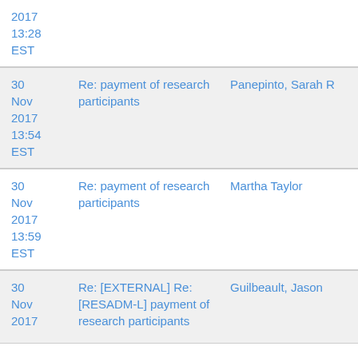| Date | Subject | Sender |
| --- | --- | --- |
| 30 Nov 2017 13:28 EST | Re: payment of research participants | Panepinto, Sarah R |
| 30 Nov 2017 13:54 EST | Re: payment of research participants | Panepinto, Sarah R |
| 30 Nov 2017 13:59 EST | Re: payment of research participants | Martha Taylor |
| 30 Nov 2017 | Re: [EXTERNAL] Re: [RESADM-L] payment of research participants | Guilbeault, Jason |